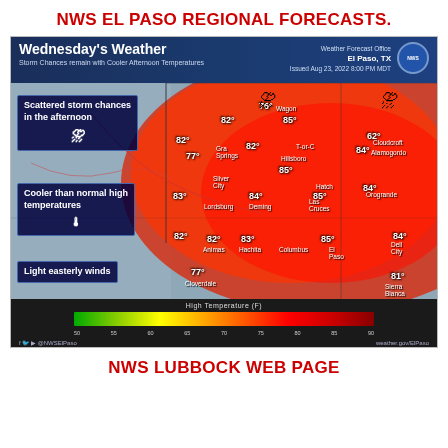NWS EL PASO REGIONAL FORECASTS.
[Figure (map): NWS El Paso regional weather forecast map for Wednesday showing high temperatures across southern New Mexico and west Texas. Temperature values range from 62°F to 85°F. Cities labeled include Lordsburg, Deming, Las Cruces, El Paso, Silver City, Hatch, Orogrande, Cloudcroft, Alamogordo, Cloverdale, Animas, Hachita, Columbus, Dell City, Sierra Blanca. Key messages: Scattered storm chances in the afternoon, Cooler than normal high temperatures, Light easterly winds. Issued Aug 23, 2022 8:00 PM MDT. Weather Forecast Office El Paso, TX.]
NWS LUBBOCK WEB PAGE